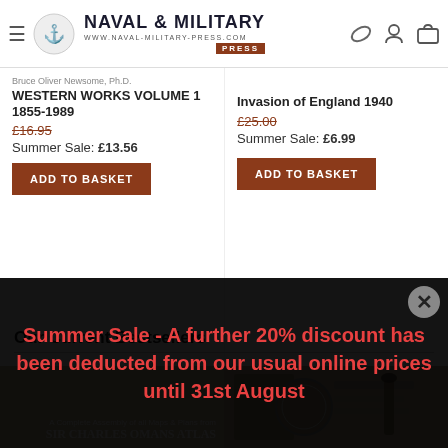Naval & Military Press - www.naval-military-press.com
Bruce Oliver Newsome, Ph.D.
WESTERN WORKS VOLUME 1 1855-1989
£16.95
Summer Sale: £13.56
ADD TO BASKET
Invasion of England 1940
£25.00
Summer Sale: £6.99
ADD TO BASKET
Our Current Bestsellers
[Figure (photo): Book cover: A Complete Assembly of all Maps & Plans from Sir Charles Oman's Atlas]
[Figure (photo): Book cover showing military medallions and documents]
Summer Sale - A further 20% discount has been deducted from our usual online prices until 31st August